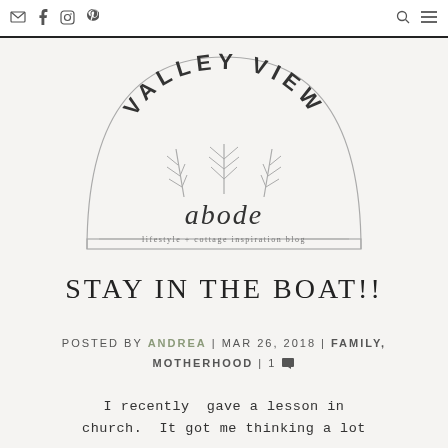Navigation bar with email, facebook, instagram, pinterest icons (left) and search, menu icons (right)
[Figure (logo): Valley View Abode logo — semicircular arch with botanical branch illustrations, script 'abode' lettering, and tagline 'lifestyle + cottage inspiration blog']
STAY IN THE BOAT!!
POSTED BY ANDREA | MAR 26, 2018 | FAMILY, MOTHERHOOD | 1 💬
I recently gave a lesson in church. It got me thinking a lot